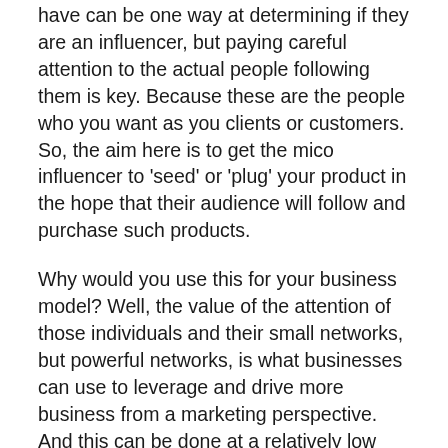have can be one way at determining if they are an influencer, but paying careful attention to the actual people following them is key. Because these are the people who you want as you clients or customers. So, the aim here is to get the mico influencer to 'seed' or 'plug' your product in the hope that their audience will follow and purchase such products.
Why would you use this for your business model? Well, the value of the attention of those individuals and their small networks, but powerful networks, is what businesses can use to leverage and drive more business from a marketing perspective. And this can be done at a relatively low cost because you would target micro influencers that already have the same values, ethics and visions of your business, and such, their followers would be your ideal customers.
So for example, say you're a product based